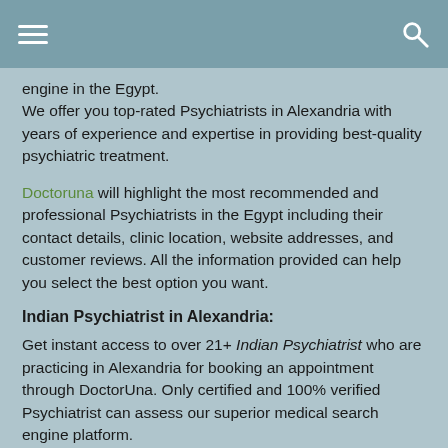engine in the Egypt.
We offer you top-rated Psychiatrists in Alexandria with years of experience and expertise in providing best-quality psychiatric treatment.
Doctoruna will highlight the most recommended and professional Psychiatrists in the Egypt including their contact details, clinic location, website addresses, and customer reviews. All the information provided can help you select the best option you want.
Indian Psychiatrist in Alexandria:
Get instant access to over 21+ Indian Psychiatrist who are practicing in Alexandria for booking an appointment through DoctorUna. Only certified and 100% verified Psychiatrist can assess our superior medical search engine platform.
Psychiatrist Fees in Alexandria 2022:
Psychiatrist fees may vary from one clinic to the other. The